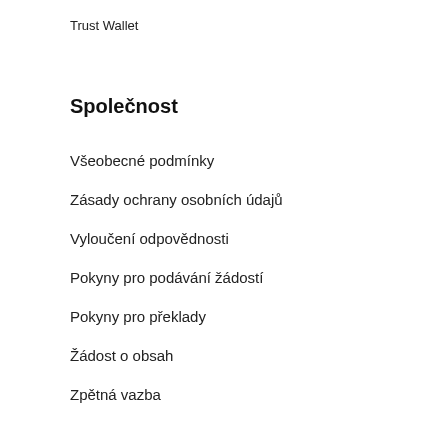Trust Wallet
Společnost
Všeobecné podmínky
Zásady ochrany osobních údajů
Vyloučení odpovědnosti
Pokyny pro podávání žádostí
Pokyny pro překlady
Žádost o obsah
Zpětná vazba